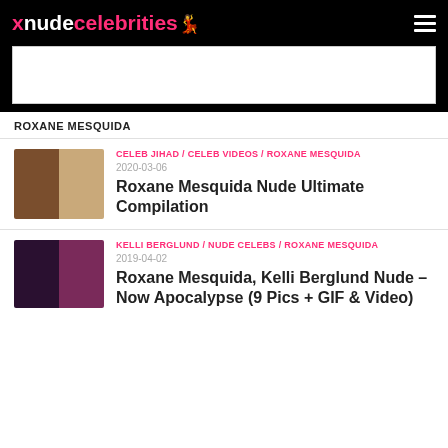xnudecelebrities
[Figure (other): Advertisement banner placeholder]
ROXANE MESQUIDA
[Figure (photo): Thumbnail image for Roxane Mesquida Nude Ultimate Compilation article]
CELEB JIHAD / CELEB VIDEOS / ROXANE MESQUIDA
2020-03-06
Roxane Mesquida Nude Ultimate Compilation
[Figure (photo): Thumbnail image for Roxane Mesquida, Kelli Berglund Nude article]
KELLI BERGLUND / NUDE CELEBS / ROXANE MESQUIDA
2019-04-02
Roxane Mesquida, Kelli Berglund Nude – Now Apocalypse (9 Pics + GIF & Video)